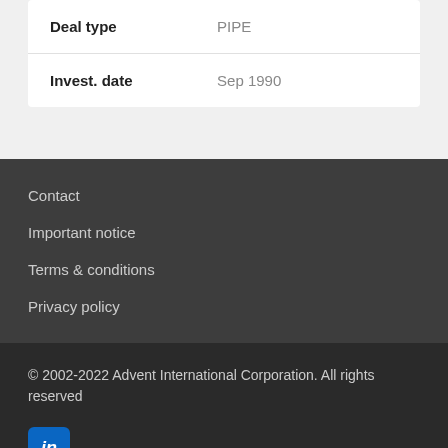| Field | Value |
| --- | --- |
| Deal type | PIPE |
| Invest. date | Sep 1990 |
Contact
Important notice
Terms & conditions
Privacy policy
© 2002-2022 Advent International Corporation. All rights reserved